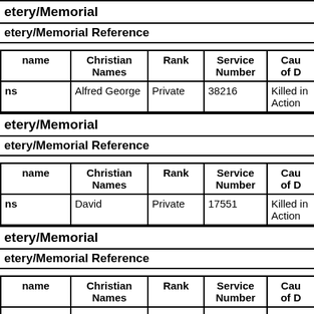Cemetery/Memorial
Cemetery/Memorial Reference
| name | Christian Names | Rank | Service Number | Cause of Death |
| --- | --- | --- | --- | --- |
| ns | Alfred George | Private | 38216 | Killed in Action |
Cemetery/Memorial
Cemetery/Memorial Reference
| name | Christian Names | Rank | Service Number | Cause of Death |
| --- | --- | --- | --- | --- |
| ns | David | Private | 17551 | Killed in Action |
Cemetery/Memorial
Cemetery/Memorial Reference
| name | Christian Names | Rank | Service Number | Cause of Death |
| --- | --- | --- | --- | --- |
|  |